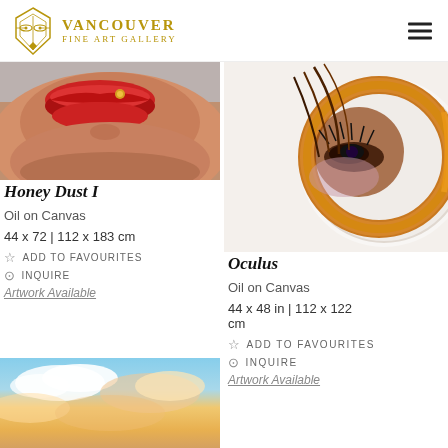Vancouver Fine Art Gallery
[Figure (photo): Close-up painting of lips and chin, oil on canvas artwork 'Honey Dust I']
Honey Dust I
Oil on Canvas
44 x 72 | 112 x 183 cm
☆ ADD TO FAVOURITES
⊙ INQUIRE
Artwork Available
[Figure (photo): Partial sky with clouds, bottom-left artwork thumbnail]
[Figure (photo): Close-up surrealist painting of eye within amber/orange circular form, artwork 'Oculus']
Oculus
Oil on Canvas
44 x 48 in | 112 x 122 cm
☆ ADD TO FAVOURITES
⊙ INQUIRE
Artwork Available